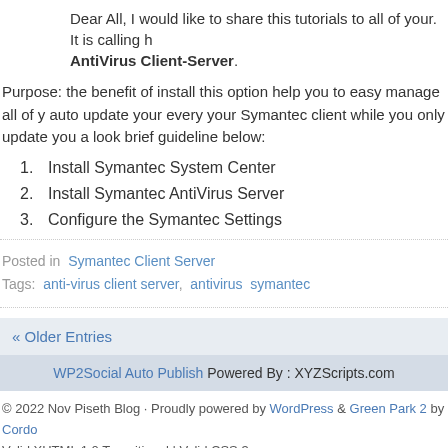Dear All, I would like to share this tutorials to all of your. It is calling h AntiVirus Client-Server.
Purpose: the benefit of install this option help you to easy manage all of y auto update your every your Symantec client while you only update you a look brief guideline below:
1. Install Symantec System Center
2. Install Symantec AntiVirus Server
3. Configure the Symantec Settings
Posted in  Symantec Client Server
Tags:  anti-virus client server,  antivirus  symantec
« Older Entries
WP2Social Auto Publish Powered By : XYZScripts.com
© 2022 Nov Piseth Blog · Proudly powered by WordPress & Green Park 2 by Cordo Valid XHTML 1.0 Transitional | Valid CSS 3
[Figure (logo): GreenPark 2 logo with colored grid icon]